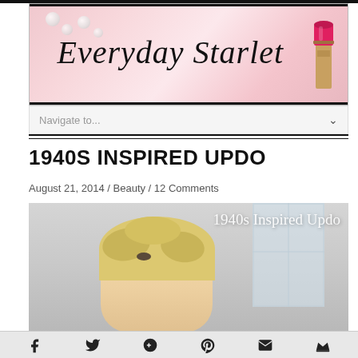[Figure (illustration): Everyday Starlet blog header banner with cursive logo text and lipstick image on pink floral background]
Navigate to...
1940S INSPIRED UPDO
August 21, 2014 / Beauty / 12 Comments
[Figure (photo): Woman with 1940s inspired blonde updo hairstyle with text overlay reading '1940s Inspired Updo']
Social sharing icons: Facebook, Twitter, Google+, Pinterest, Email, Crown